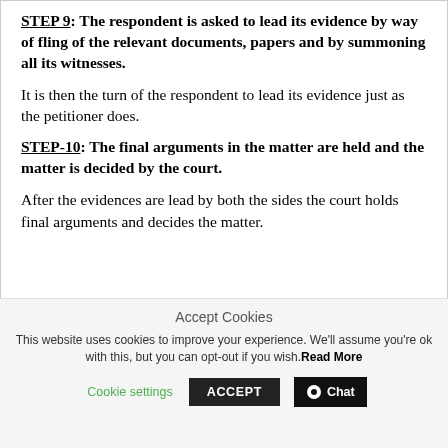STEP 9: The respondent is asked to lead its evidence by way of fling of the relevant documents, papers and by summoning all its witnesses.
It is then the turn of the respondent to lead its evidence just as the petitioner does.
STEP-10: The final arguments in the matter are held and the matter is decided by the court.
After the evidences are lead by both the sides the court holds final arguments and decides the matter.
Accept Cookies
This website uses cookies to improve your experience. We'll assume you're ok with this, but you can opt-out if you wish. Read More